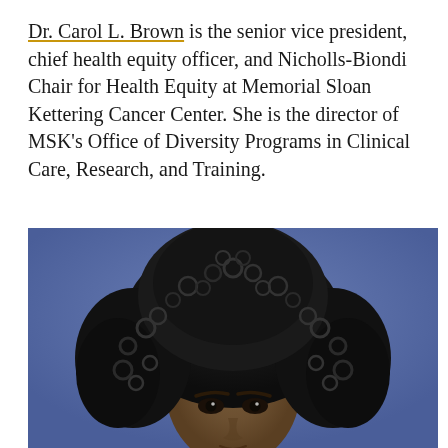Dr. Carol L. Brown is the senior vice president, chief health equity officer, and Nicholls-Biondi Chair for Health Equity at Memorial Sloan Kettering Cancer Center. She is the director of MSK's Office of Diversity Programs in Clinical Care, Research, and Training.
[Figure (photo): Professional headshot of Dr. Carol L. Brown against a blue background, showing her face and natural curly hair.]